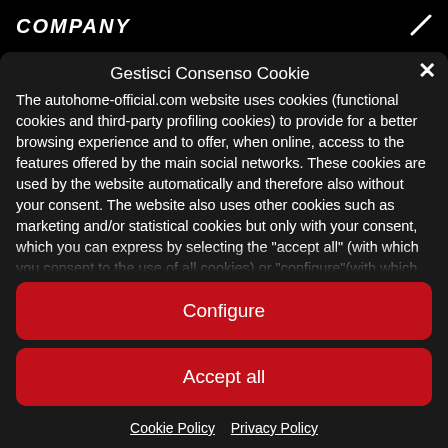COMPANY
Gestisci Consenso Cookie
The autohome-official.com website uses cookies (functional cookies and third-party profiling cookies) to provide for a better browsing experience and to offer, when online, access to the features offered by the main social networks. These cookies are used by the website automatically and therefore also without your consent. The website also uses other cookies such as marketing and/or statistical cookies but only with your consent, which you can express by selecting the "accept all" (with which you consent to the use of all cookies) or "configure"(with which you can customize your preferences by clicking on the individual categories of cookies you want to accept and then selecting the "save" button to save these preferences). We warn you that if you decide to close the popup menu directly by clicking on the button on the top right, without selecting any of the "accept all" or "configure"
Configure
Accept all
Cookie Policy   Privacy Policy